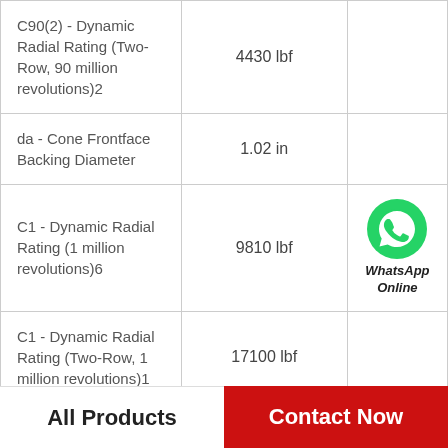| Property | Value |  |
| --- | --- | --- |
| C90(2) - Dynamic Radial Rating (Two-Row, 90 million revolutions)2 | 4430 lbf |  |
| da - Cone Frontface Backing Diameter | 1.02 in |  |
| C1 - Dynamic Radial Rating (1 million revolutions)6 | 9810 lbf | WhatsApp Online |
| C1 - Dynamic Radial Rating (Two-Row, 1 million revolutions)1 | 17100 lbf |  |
| Design Units | Imperial |  |
|  |  |  |
All Products    Contact Now